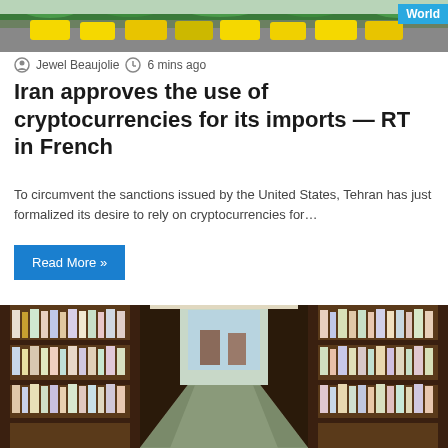[Figure (photo): Top photo showing street traffic with yellow taxis and cars, with a World badge in top right corner]
Jewel Beaujolie  6 mins ago
Iran approves the use of cryptocurrencies for its imports — RT in French
To circumvent the sanctions issued by the United States, Tehran has just formalized its desire to rely on cryptocurrencies for…
Read More »
[Figure (photo): Interior photo of a library showing long rows of bookshelves from a center-aisle perspective, with a USA news badge in bottom right corner]